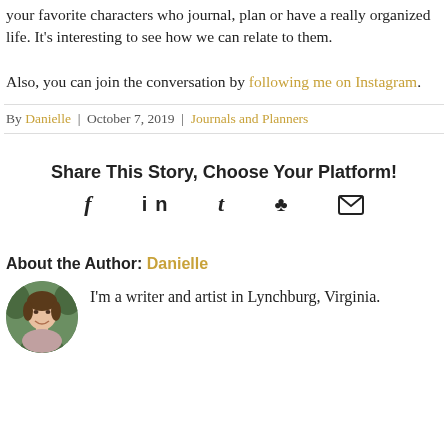your favorite characters who journal, plan or have a really organized life. It's interesting to see how we can relate to them.

Also, you can join the conversation by following me on Instagram.
By Danielle | October 7, 2019 | Journals and Planners
Share This Story, Choose Your Platform!
[Figure (infographic): Social media sharing icons: Facebook (f), LinkedIn (in), Tumblr (t), Pinterest (P), Email (envelope)]
About the Author: Danielle
[Figure (photo): Circular headshot photo of Danielle, a woman smiling, with green foliage background]
I'm a writer and artist in Lynchburg, Virginia.